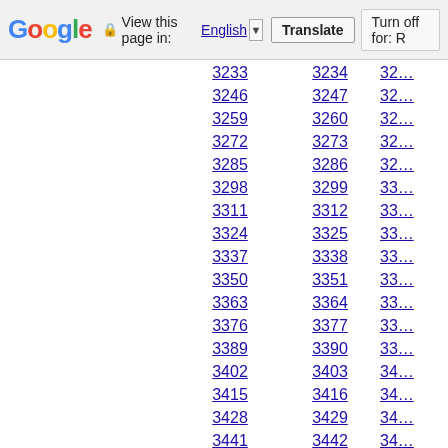Google  View this page in: English [v]  Translate  Turn off for: R
3233 3234 32...
3246 3247 32...
3259 3260 32...
3272 3273 32...
3285 3286 32...
3298 3299 33...
3311 3312 33...
3324 3325 33...
3337 3338 33...
3350 3351 33...
3363 3364 33...
3376 3377 33...
3389 3390 33...
3402 3403 34...
3415 3416 34...
3428 3429 34...
3441 3442 34...